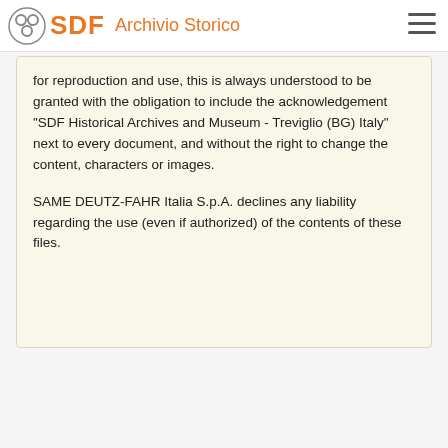SDF Archivio Storico
for reproduction and use, this is always understood to be granted with the obligation to include the acknowledgement "SDF Historical Archives and Museum - Treviglio (BG) Italy" next to every document, and without the right to change the content, characters or images.

SAME DEUTZ-FAHR Italia S.p.A. declines any liability regarding the use (even if authorized) of the contents of these files.